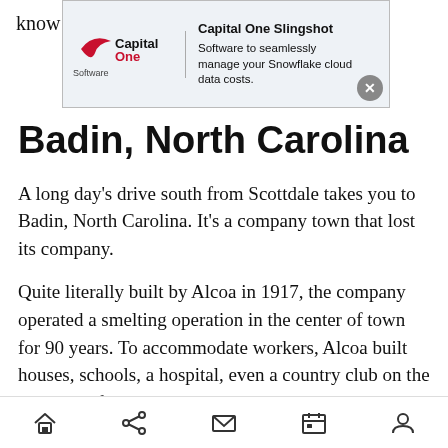know
[Figure (screenshot): Capital One Slingshot advertisement banner. Shows Capital One Software logo on the left, with tagline: 'Capital One Slingshot – Software to seamlessly manage your Snowflake cloud data costs.' Has a close (X) button in bottom right corner.]
Badin, North Carolina
A long day’s drive south from Scottdale takes you to Badin, North Carolina. It’s a company town that lost its company.
Quite literally built by Alcoa in 1917, the company operated a smelting operation in the center of town for 90 years. To accommodate workers, Alcoa built houses, schools, a hospital, even a country club on the east side of town; housing and a school in the “Negro Village” on the west side.
Navigation bar with home, share, mail, calendar, and profile icons